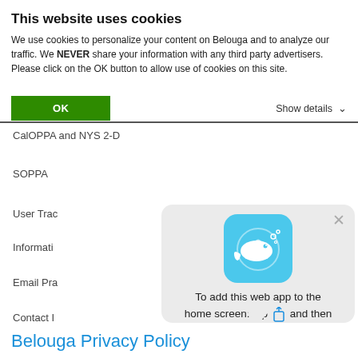This website uses cookies
We use cookies to personalize your content on Belouga and to analyze our traffic. We NEVER share your information with any third party advertisers. Please click on the OK button to allow use of cookies on this site.
OK   Show details ▾
CalOPPA and NYS 2-D
SOPPA
User Trac
Informati
Email Pra
Contact I
[Figure (screenshot): iOS 'Add to Home Screen' popup with Belouga whale app icon, share icon, text saying 'To add this web app to the home screen: tap [share icon] and then Add to Home Screen.']
Belouga Privacy Policy